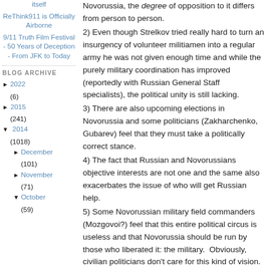ReThink911 is Officially Airborne
9/11 Truth Film Festival - 50 Years of Deception - From JFK to Today
BLOG ARCHIVE
► 2022 (6)
► 2015 (241)
▼ 2014 (1018)
► December (101)
► November (71)
▼ October (59)
Novorussia, the degree of opposition to it differs from person to person.
2) Even though Strelkov tried really hard to turn an insurgency of volunteer militiamen into a regular army he was not given enough time and while the purely military coordination has improved (reportedly with Russian General Staff specialists), the political unity is still lacking.
3) There are also upcoming elections in Novorussia and some politicians (Zakharchenko, Gubarev) feel that they must take a politically correct stance.
4) The fact that Russian and Novorussians objective interests are not one and the same also exacerbates the issue of who will get Russian help.
5) Some Novorussian military field commanders (Mozgovoi?) feel that this entire political circus is useless and that Novorussia should be run by those who liberated it: the military.  Obviously, civilian politicians don't care for this kind of vision.
6) The Russian infighting between the "Atlantic